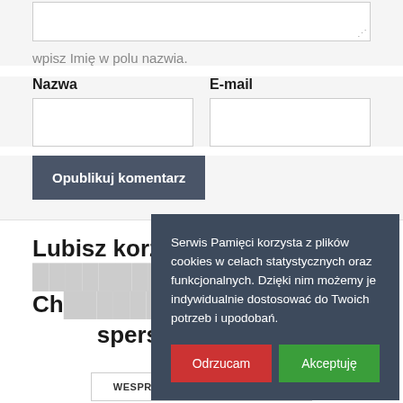wpisz Imię w polu nazwia.
Nazwa
E-mail
Opublikuj komentarz
Lubisz korzystać... sperso...
Serwis Pamięci korzysta z plików cookies w celach statystycznych oraz funkcjonalnych. Dzięki nim możemy je indywidualnie dostosować do Twoich potrzeb i upodobań.
Odrzucam
Akceptuję
WESPRZYJ NASZĄ DZIAŁALNOŚĆ